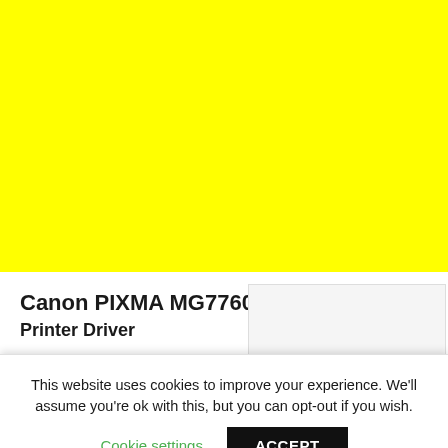[Figure (other): Solid bright yellow background filling the top portion of the page]
Canon PIXMA MG7760
Printer Driver
[Figure (photo): Partial view of a Canon PIXMA MG7760 printer against a light background]
This website uses cookies to improve your experience. We'll assume you're ok with this, but you can opt-out if you wish.
Cookie settings
ACCEPT